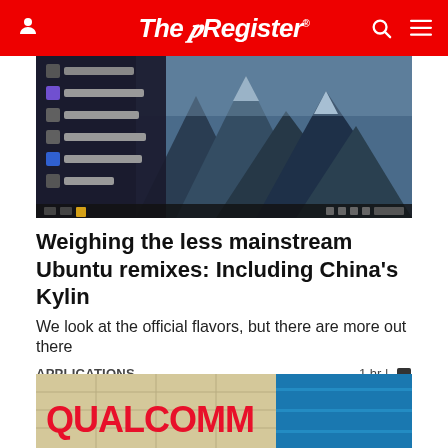The Register
[Figure (screenshot): Screenshot of a Linux desktop with application menu open, showing mountain wallpaper]
Weighing the less mainstream Ubuntu remixes: Including China's Kylin
We look at the official flavors, but there are more out there
APPLICATIONS   1 hr |
[Figure (photo): Qualcomm building exterior with blue sky, showing partial Qualcomm logo signage]